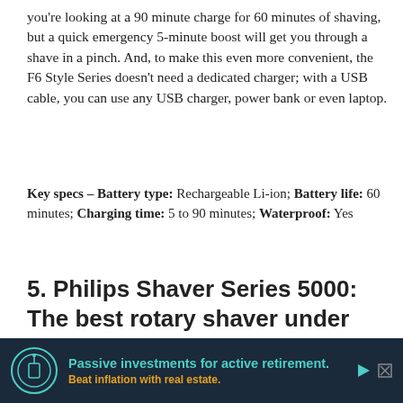you're looking at a 90 minute charge for 60 minutes of shaving, but a quick emergency 5-minute boost will get you through a shave in a pinch. And, to make this even more convenient, the F6 Style Series doesn't need a dedicated charger; with a USB cable, you can use any USB charger, power bank or even laptop.
Key specs – Battery type: Rechargeable Li-ion; Battery life: 60 minutes; Charging time: 5 to 90 minutes; Waterproof: Yes
5. Philips Shaver Series 5000: The best rotary shaver under £100
Price: £75 | Buy now from Amazon
[Figure (photo): Photo of Philips Shaver Series 5000 rotary shaver head, showing three circular cutting heads on a dark body, partially visible at bottom of page]
[Figure (infographic): Advertisement banner: dark background with circular logo icon, text 'Passive investments for active retirement. Beat inflation with real estate.' in teal and orange/gold colors, with play and close buttons]